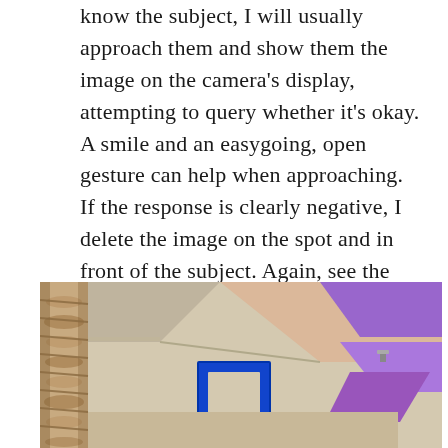know the subject, I will usually approach them and show them the image on the camera's display, attempting to query whether it's okay.  A smile and an easygoing, open gesture can help when approaching.  If the response is clearly negative, I delete the image on the spot and in front of the subject. Again, see the Golden Rule, above, and keep in mind that courtesy and respect make all the difference.
[Figure (photo): Interior ceiling/wall installation photo showing a textured rope or tree trunk on the left, bright blue rectangular frame element in the center, and angular purple/violet geometric shapes mounted on a beige ceiling.]